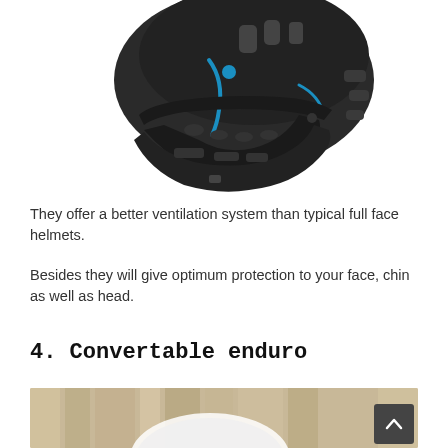[Figure (photo): Black full-face mountain bike helmet with blue accents, viewed from a 3/4 angle showing ventilation slots and chin guard.]
They offer a better ventilation system than typical full face helmets.
Besides they will give optimum protection to your face, chin as well as head.
4. Convertable enduro
[Figure (photo): Partial view of a white convertible enduro helmet in an outdoor setting with blurred background.]